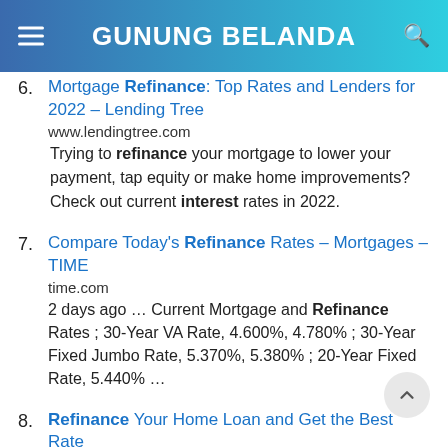GUNUNG BELANDA
6. Mortgage Refinance: Top Rates and Lenders for 2022 – Lending Tree
www.lendingtree.com
Trying to refinance your mortgage to lower your payment, tap equity or make home improvements? Check out current interest rates in 2022.
7. Compare Today's Refinance Rates – Mortgages – TIME
time.com
2 days ago … Current Mortgage and Refinance Rates ; 30-Year VA Rate, 4.600%, 4.780% ; 30-Year Fixed Jumbo Rate, 5.370%, 5.380% ; 20-Year Fixed Rate, 5.440% …
8. Refinance Your Home Loan and Get the Best Rate